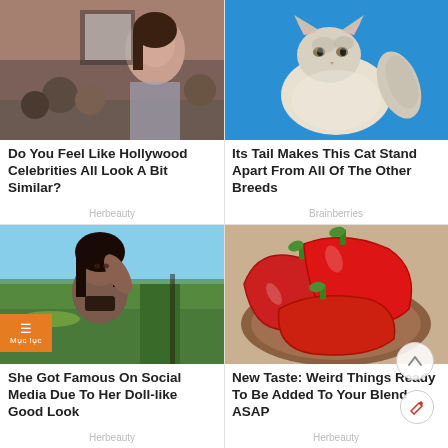[Figure (photo): Woman at Hollywood event with crowd in background]
Do You Feel Like Hollywood Celebrities All Look A Bit Similar?
Herbeauty
[Figure (photo): Fluffy cat with distinctive tail on blue background]
Its Tail Makes This Cat Stand Apart From All Of The Other Breeds
Brainberries
[Figure (photo): Young woman in bikini at beach]
She Got Famous On Social Media Due To Her Doll-like Good Look
Herbeauty
[Figure (photo): Red peppers on a wooden plate]
New Taste: Weird Things Ready To Be Added To Your Blend ASAP
Herbeauty